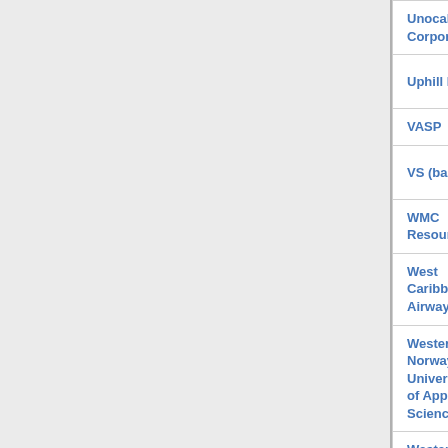| Name | Type | URL |
| --- | --- | --- |
| Unocal Corporation | business | http... |
| Uphill Battle | musical group | http... |
| VASP | airline | http... |
| VS (band) | musical group | http... |
| WMC Resources | business | http... |
| West Caribbean Airways | airline | http... |
| Western Norway University of Applied Sciences | university college | http... |
| Western Wireless Corporation | business | http... |
| Westward Ho Hotel and Casino | hotel | http... |
| White Hot Odyssey | musical group | http... |
| Williams Grove Amusement Park | amusement park | http... |
| Wizo | musical group | http... |